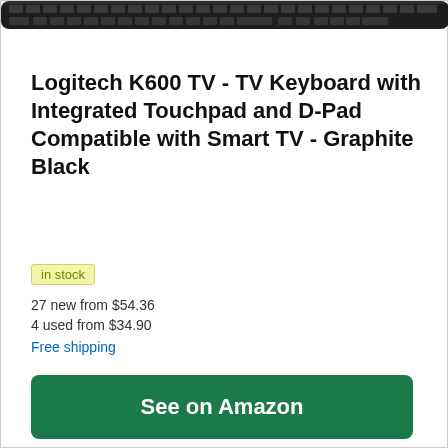[Figure (photo): Partial view of Logitech K600 TV keyboard, dark graphite colored, shown at top of page]
Logitech K600 TV - TV Keyboard with Integrated Touchpad and D-Pad Compatible with Smart TV - Graphite Black
in stock
27 new from $54.36
4 used from $34.90
Free shipping
See on Amazon
Amazon.com